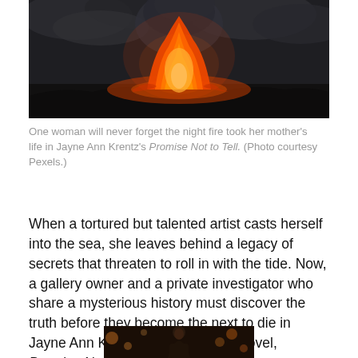[Figure (photo): Volcano erupting at night with bright orange flames and smoke rising against a dark sky]
One woman will never forget the night fire took her mother's life in Jayne Ann Krentz's Promise Not to Tell. (Photo courtesy Pexels.)
When a tortured but talented artist casts herself into the sea, she leaves behind a legacy of secrets that threaten to roll in with the tide. Now, a gallery owner and a private investigator who share a mysterious history must discover the truth before they become the next to die in Jayne Ann Krentz's delicious new novel, Promise Not to Tell.
[Figure (photo): Person in dark clothing photographed with bokeh lights in background]